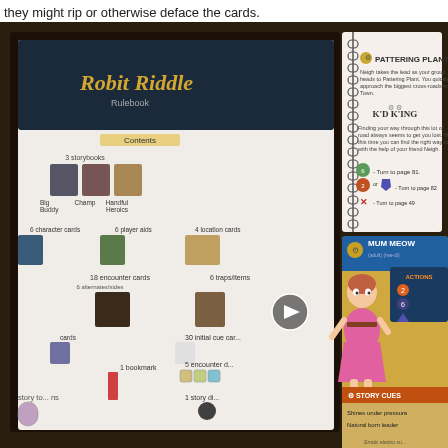they might rip or otherwise deface the cards.
[Figure (photo): A photograph of board game components for 'Robit Riddle' spread on a dark wooden table. Top left: a rulebook showing component contents including storybooks, character cards, player aids, location cards, encounter cards, traps/items, cue cards, bookmark, encounter dice, and story die. Top right: an open ring-bound storybook showing an encounter page titled 'PATTERING PLANT' and another section 'K'D K'ING' with branching options to turn to page 81, page 82, or page 49. Bottom center-right: a character card for 'MUM MEOW' showing a cartoon pink-dressed female character with ACTIONS section and STORY CUES reading 'Shines under pressure' and 'Natural born leader'.]